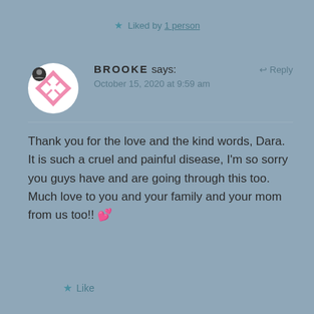★ Liked by 1 person
BROOKE says: October 15, 2020 at 9:59 am ↩ Reply
Thank you for the love and the kind words, Dara. It is such a cruel and painful disease, I'm so sorry you guys have and are going through this too. Much love to you and your family and your mom from us too!! 💕
★ Like